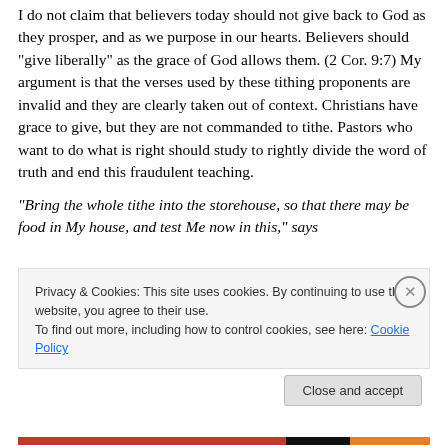I do not claim that believers today should not give back to God as they prosper, and as we purpose in our hearts. Believers should "give liberally" as the grace of God allows them. (2 Cor. 9:7) My argument is that the verses used by these tithing proponents are invalid and they are clearly taken out of context. Christians have grace to give, but they are not commanded to tithe. Pastors who want to do what is right should study to rightly divide the word of truth and end this fraudulent teaching.
“Bring the whole tithe into the storehouse, so that there may be food in My house, and test Me now in this,” says
Privacy & Cookies: This site uses cookies. By continuing to use this website, you agree to their use.
To find out more, including how to control cookies, see here: Cookie Policy
Close and accept